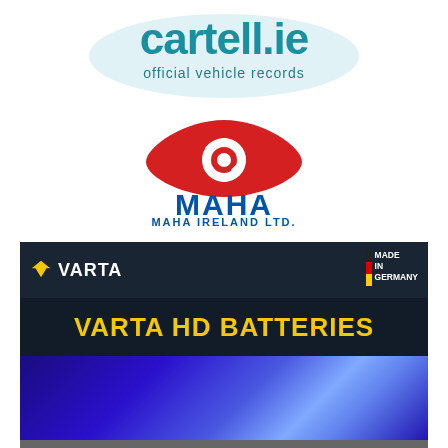[Figure (logo): cartell.ie official vehicle records logo — teal oval with cartell.ie text and subtitle]
[Figure (logo): MAHA Ireland Ltd. logo — red eye shape with gear icon above blue MAHA text and MAHA IRELAND LTD. subtitle]
[Figure (logo): VARTA HD Batteries advertisement — dark navy/black background with VARTA logo, Made in Germany badge, VARTA HD BATTERIES text in yellow, blue gradient panel below]